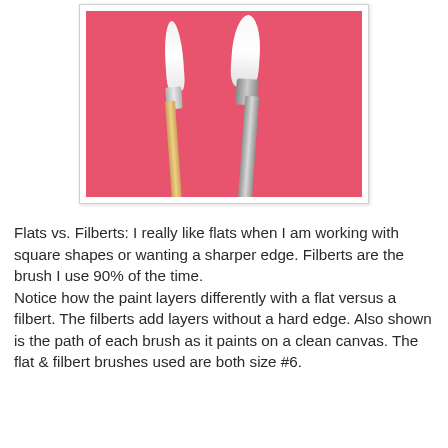[Figure (photo): Two paint brushes photographed against a pink/coral background. The left brush is a flat brush with a gold/wooden handle, and the right brush is a filbert brush with a silver/metallic handle. Both have white bristles.]
Flats vs. Filberts: I really like flats when I am working with square shapes or wanting a sharper edge. Filberts are the brush I use 90% of the time.
Notice how the paint layers differently with a flat versus a filbert. The filberts add layers without a hard edge. Also shown is the path of each brush as it paints on a clean canvas. The flat & filbert brushes used are both size #6.